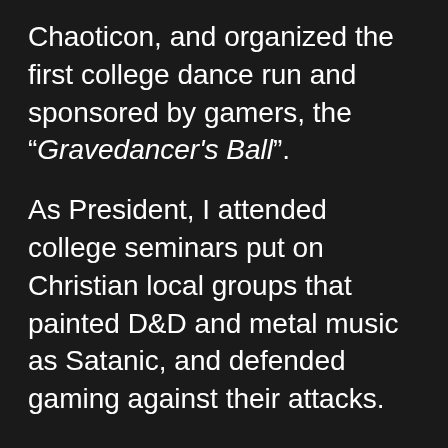Chaoticon, and organized the first college dance run and sponsored by gamers, the "Gravedancer's Ball".
As President, I attended college seminars put on Christian local groups that painted D&D and metal music as Satanic, and defended gaming against their attacks.
After years of hiding the gamer side of me, I finally let my geek flag fly. Gaming triggered creativity that helped me acquire a Bachelor's degree in Creative Writing; gave me the confidence to act in productions as part of the Humanities Council; and instilled